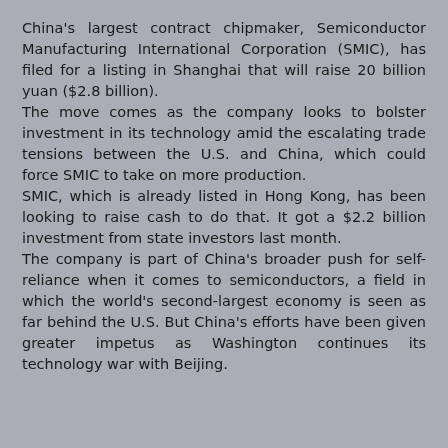China's largest contract chipmaker, Semiconductor Manufacturing International Corporation (SMIC), has filed for a listing in Shanghai that will raise 20 billion yuan ($2.8 billion).
The move comes as the company looks to bolster investment in its technology amid the escalating trade tensions between the U.S. and China, which could force SMIC to take on more production.
SMIC, which is already listed in Hong Kong, has been looking to raise cash to do that. It got a $2.2 billion investment from state investors last month.
The company is part of China's broader push for self-reliance when it comes to semiconductors, a field in which the world's second-largest economy is seen as far behind the U.S. But China's efforts have been given greater impetus as Washington continues its technology war with Beijing.